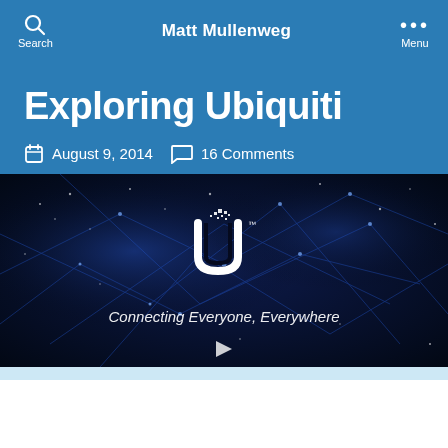Matt Mullenweg
Exploring Ubiquiti
August 9, 2014   16 Comments
[Figure (screenshot): Ubiquiti promotional video thumbnail showing a dark space/network background with glowing blue network lines and nodes, the Ubiquiti 'U' logo in white, and the tagline 'Connecting Everyone, Everywhere' with a play button at the bottom center.]